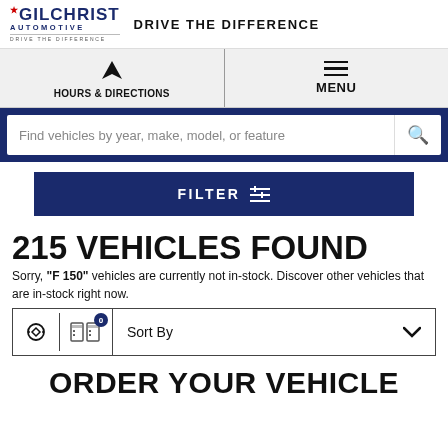[Figure (logo): Gilchrist Automotive logo with star and 'DRIVE THE DIFFERENCE' tagline]
DRIVE THE DIFFERENCE
HOURS & DIRECTIONS
MENU
Find vehicles by year, make, model, or feature
FILTER
215 VEHICLES FOUND
Sorry, "F 150" vehicles are currently not in-stock. Discover other vehicles that are in-stock right now.
Sort By
ORDER YOUR VEHICLE